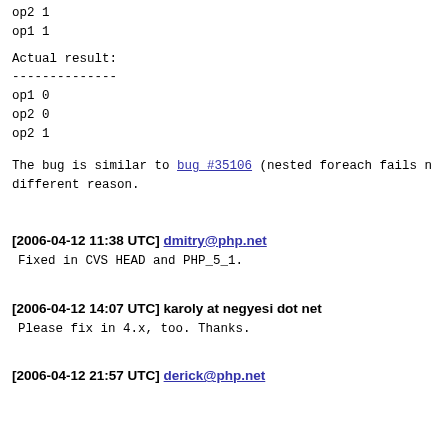op2 1
op1 1
Actual result:
--------------
op1 0
op2 0
op2 1
The bug is similar to bug #35106 (nested foreach fails different reason.
[2006-04-12 11:38 UTC] dmitry@php.net
Fixed in CVS HEAD and PHP_5_1.
[2006-04-12 14:07 UTC] karoly at negyesi dot net
Please fix in 4.x, too. Thanks.
[2006-04-12 21:57 UTC] derick@php.net